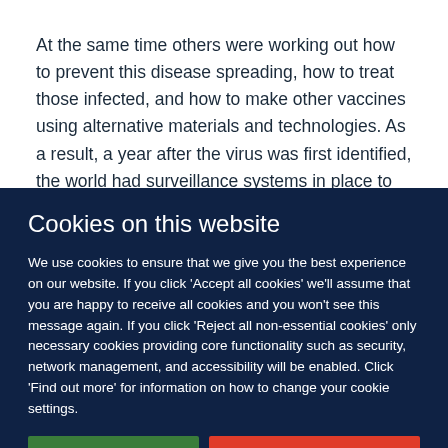At the same time others were working out how to prevent this disease spreading, how to treat those infected, and how to make other vaccines using alternative materials and technologies. As a result, a year after the virus was first identified, the world had surveillance systems in place to track
Cookies on this website
We use cookies to ensure that we give you the best experience on our website. If you click 'Accept all cookies' we'll assume that you are happy to receive all cookies and you won't see this message again. If you click 'Reject all non-essential cookies' only necessary cookies providing core functionality such as security, network management, and accessibility will be enabled. Click 'Find out more' for information on how to change your cookie settings.